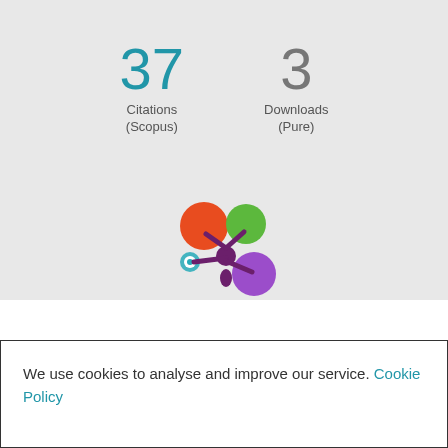37
Citations
(Scopus)
3
Downloads
(Pure)
[Figure (logo): Altmetric donut-style logo with orange, green, purple and teal circles arranged in a flower/butterfly pattern on dark purple stem]
Overview
Fingerprint
We use cookies to analyse and improve our service. Cookie Policy